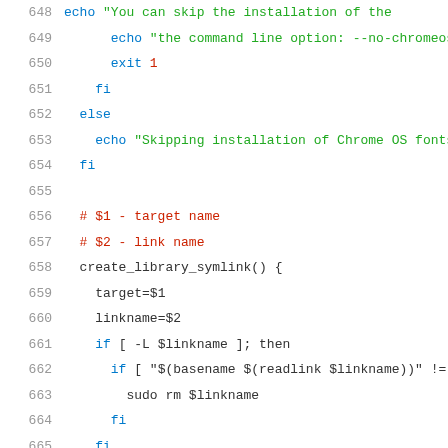Source code / shell script lines 649-669 showing create_library_symlink function